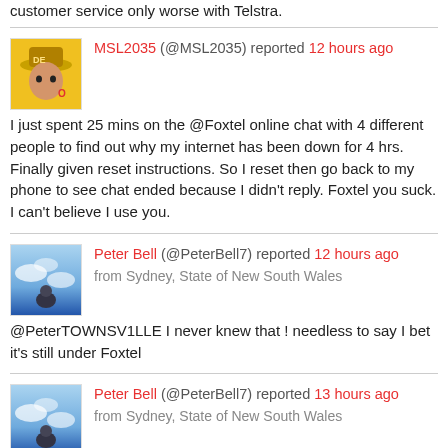customer service only worse with Telstra.
MSL2035 (@MSL2035) reported 12 hours ago
I just spent 25 mins on the @Foxtel online chat with 4 different people to find out why my internet has been down for 4 hrs. Finally given reset instructions. So I reset then go back to my phone to see chat ended because I didn't reply. Foxtel you suck. I can't believe I use you.
Peter Bell (@PeterBell7) reported 12 hours ago
from Sydney, State of New South Wales
@PeterTOWNSV1LLE I never knew that ! needless to say I bet it's still under Foxtel
Peter Bell (@PeterBell7) reported 13 hours ago
from Sydney, State of New South Wales